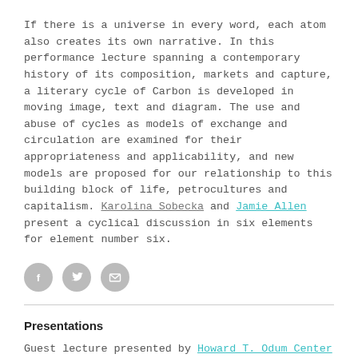If there is a universe in every word, each atom also creates its own narrative. In this performance lecture spanning a contemporary history of its composition, markets and capture, a literary cycle of Carbon is developed in moving image, text and diagram. The use and abuse of cycles as models of exchange and circulation are examined for their appropriateness and applicability, and new models are proposed for our relationship to this building block of life, petrocultures and capitalism. Karolina Sobecka and Jamie Allen present a cyclical discussion in six elements for element number six.
[Figure (other): Three social sharing icon circles (Facebook, Twitter, Email) in gray]
Presentations
Guest lecture presented by Howard T. Odum Center for Wetlands and Imagining Climate Change